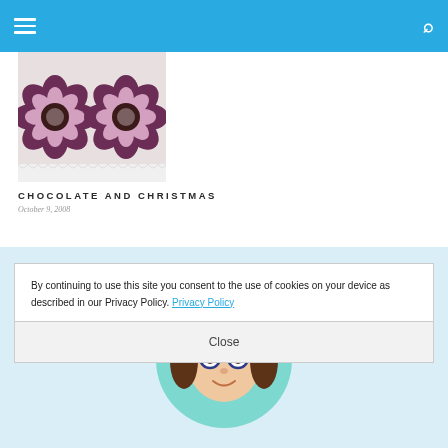Navigation header with hamburger menu and search icon
[Figure (photo): Chocolate flower-shaped candy pieces with pink petals on white background]
CHOCOLATE AND CHRISTMAS
October 9, 2008
HELLO!
[Figure (illustration): Illustrated cartoon avatar with teal/mint background circle, brown hair, showing face with glasses]
By continuing to use this site you consent to the use of cookies on your device as described in our Privacy Policy. Privacy Policy
Close